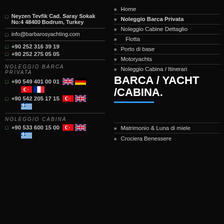Neyzen Tevfik Cad. Saray Sokak No:4 48400 Bodrum, Turkey
info@barbarosyachting.com
+90 252 316 39 19
+90 252 275 05 05
NOLEGGIO BARCA PRIVATA
+90 549 401 00 01
+90 542 205 17 15
NOLEGGIO CABINA
+90 533 600 15 00
Home
Noleggio Barca Privata
Noleggio Cabine Dettaglio
Flotta
Porto di base
Motoryachts
Noleggio Cabina / Itinerari
BARCA / YACHT /CABINA.
Matrimonio & Luna di miele
Crociera Benessere